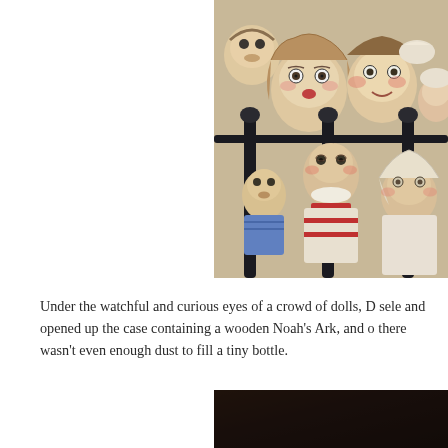[Figure (photo): A collection of antique dolls crowded together, with various facial expressions, displayed behind iron bed rails. The dolls have painted porcelain or composition faces, glass eyes, and are dressed in period clothing.]
Under the watchful and curious eyes of a crowd of dolls, D sele and opened up the case containing a wooden Noah's Ark, and o there wasn't even enough dust to fill a tiny bottle.
[Figure (photo): A dark, partially visible image at the bottom of the page, showing a dark background.]